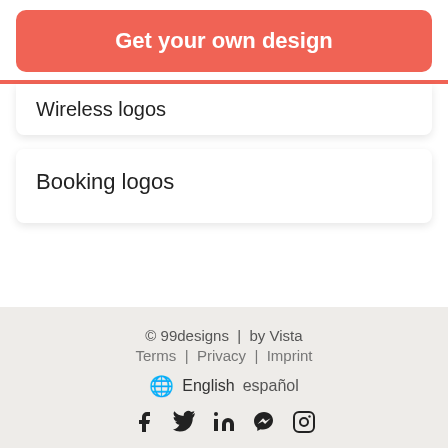Get your own design
Wireless logos
Booking logos
© 99designs | by Vista
Terms | Privacy | Imprint
English español
f  in  𝕡  🅿
© 99designs  |  by Vista
Terms  |  Privacy  |  Imprint
English  español